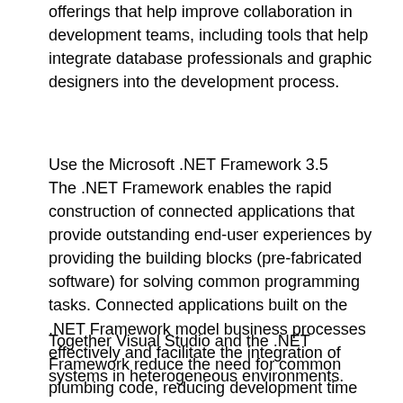offerings that help improve collaboration in development teams, including tools that help integrate database professionals and graphic designers into the development process.
Use the Microsoft .NET Framework 3.5
The .NET Framework enables the rapid construction of connected applications that provide outstanding end-user experiences by providing the building blocks (pre-fabricated software) for solving common programming tasks. Connected applications built on the .NET Framework model business processes effectively and facilitate the integration of systems in heterogeneous environments.
Together Visual Studio and the .NET Framework reduce the need for common plumbing code, reducing development time and enabling developers to concentrate on achieving their goals.